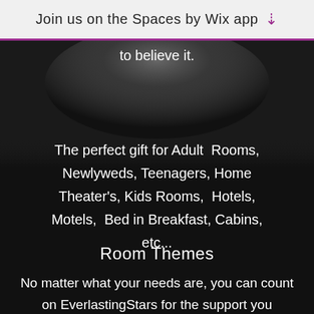Join us on the Spaces by Wix app ↓
to believe it.
The perfect gift for Adult  Rooms, Newlyweds, Teenagers, Home Theater's, Kids Rooms,  Hotels, Motels,  Bed in Breakfast, Cabins, etc...
Room Themes
No matter what your needs are, you can count on EverlastingStars for the support you deserve. We see each customer as unique, which is why all of our services can be